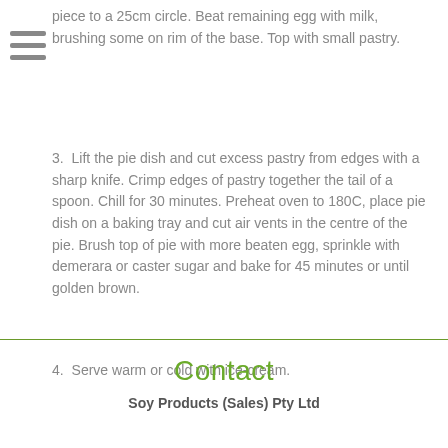piece to a 25cm circle. Beat remaining egg with milk, brushing some on rim of the base. Top with small pastry.
3. Lift the pie dish and cut excess pastry from edges with a sharp knife. Crimp edges of pastry together the tail of a spoon. Chill for 30 minutes. Preheat oven to 180C, place pie dish on a baking tray and cut air vents in the centre of the pie. Brush top of pie with more beaten egg, sprinkle with demerara or caster sugar and bake for 45 minutes or until golden brown.
4. Serve warm or cold with ice-cream.
Contact
Soy Products (Sales) Pty Ltd